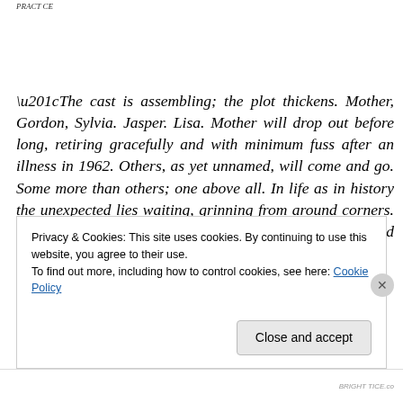PRACT CE
“The cast is assembling; the plot thickens. Mother, Gordon, Sylvia. Jasper. Lisa. Mother will drop out before long, retiring gracefully and with minimum fuss after an illness in 1962. Others, as yet unnamed, will come and go. Some more than others; one above all. In life as in history the unexpected lies waiting, grinning from around corners. Only with hindsight are we wise about cause and effect.”
Privacy & Cookies: This site uses cookies. By continuing to use this website, you agree to their use.
To find out more, including how to control cookies, see here: Cookie Policy
Close and accept